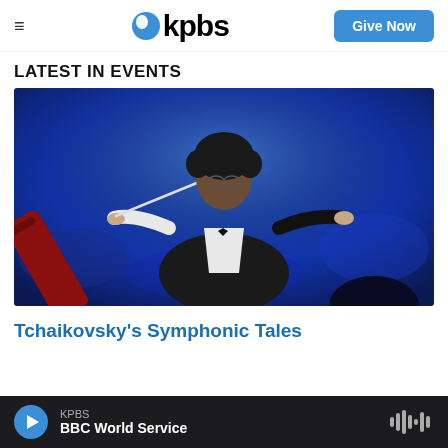≡  kpbs  Give Now
LATEST IN EVENTS
[Figure (photo): Orchestra conductor on stage with blue background, wearing dark jacket and bow tie, holding a baton in one hand and extending the other arm outward, with a red instrument visible in the foreground and audience in background]
Tchaikovsky's Symphonic Tales
KPBS  BBC World Service